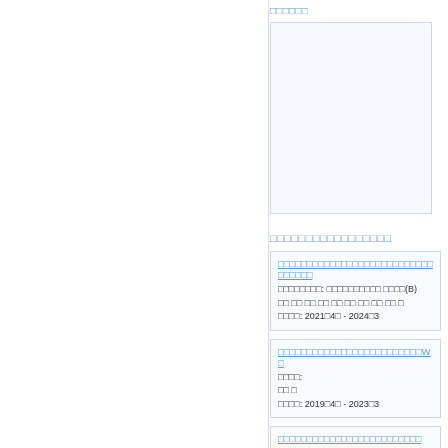□□□□□□
[Figure (other): Image box with light blue border on right column]
□□□□□□□□□□□□□□□□□
□□□□□□□□□□□□□□□□□□□□□□□□□□□□□□□□□
□□□□□□□□: □□□□□□□□□□ □□□□(B)
□□ □□ □□ □□ □□ □□ □□ □□ □□ □
□□□□: 2021□4□ - 2024□3
□□□□□□□□□□□□□□□□□□□□□□□□□W□
□□□□:
□□ □
□□□□: 2019□4□ - 2023□3
□□□□□□□□□□□□□□□□□□□□□□□□□